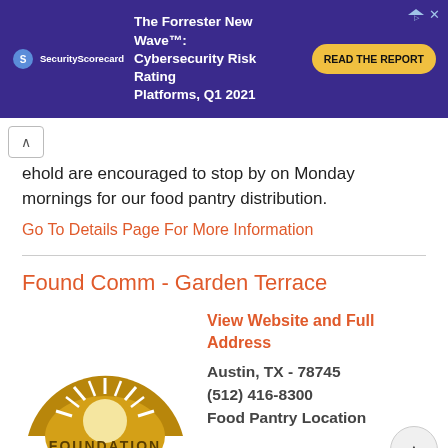[Figure (screenshot): Advertisement banner for SecurityScorecard - The Forrester New Wave™: Cybersecurity Risk Rating Platforms, Q1 2021 with READ THE REPORT button]
ehold are encouraged to stop by on Monday mornings for our food pantry distribution.
Go To Details Page For More Information
Found Comm - Garden Terrace
[Figure (logo): Foundation Communities logo - golden semicircle with sun rays above 'FOUNDATION COMMUNITIES' text]
View Website and Full Address
Austin, TX - 78745
(512) 416-8300
Food Pantry Location
3.42 miles away